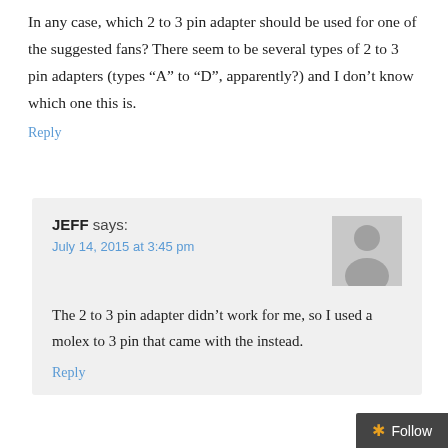In any case, which 2 to 3 pin adapter should be used for one of the suggested fans? There seem to be several types of 2 to 3 pin adapters (types “A” to “D”, apparently?) and I don’t know which one this is.
Reply
JEFF says:
July 14, 2015 at 3:45 pm
[Figure (illustration): Gray avatar placeholder image showing a generic person silhouette]
The 2 to 3 pin adapter didn’t work for me, so I used a molex to 3 pin that came with the instead.
Reply